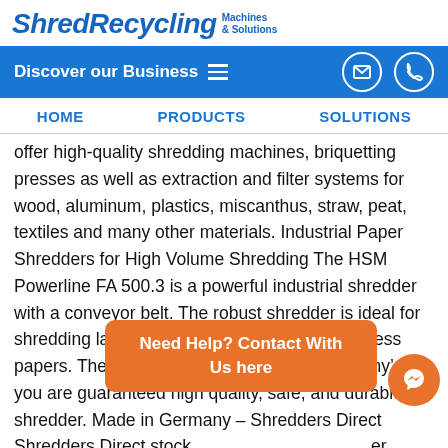ShredRecycling Machines & Solutions
Discover our Business
HOME | PRODUCTS | SOLUTIONS
offer high-quality shredding machines, briquetting presses as well as extraction and filter systems for wood, aluminum, plastics, miscanthus, straw, peat, textiles and many other materials. Industrial Paper Shredders for High Volume Shredding The HSM Powerline FA 500.3 is a powerful industrial shredder with a conveyor belt. The robust shredder is ideal for shredding large quantities of confidential business papers. The HSM shredder is ‘Made in Germany’, so you are guaranteed high quality, safe, and durable shredder. Made in Germany – Shredders Direct Shredders Direct stock er trimming machines which are manufactured in Germany also as the manufacturer show in this sector.